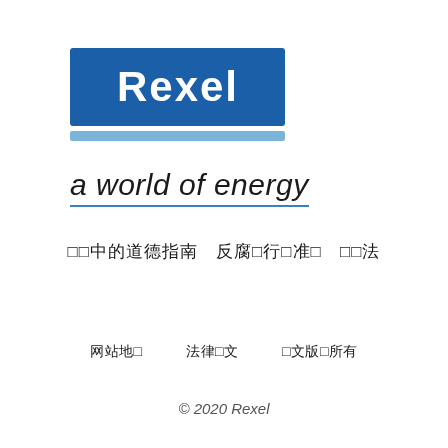[Figure (logo): Rexel logo: blue rectangle with white text 'Rexel' and a light blue horizontal stripe below]
a world of energy
□□中的道德指南　反腐□行□准□　□□法
网站地□　　法律□文　　□文版□所有
© 2020 Rexel